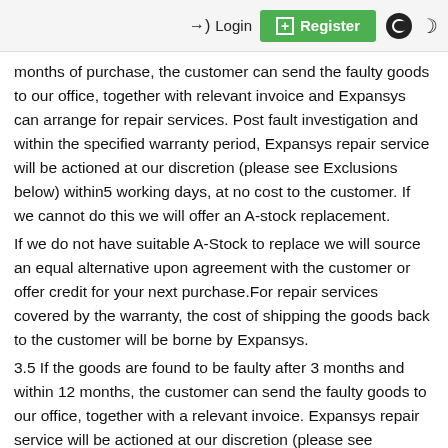Login | Register
months of purchase, the customer can send the faulty goods to our office, together with relevant invoice and Expansys can arrange for repair services. Post fault investigation and within the specified warranty period, Expansys repair service will be actioned at our discretion (please see Exclusions below) within5 working days, at no cost to the customer. If we cannot do this we will offer an A-stock replacement.
If we do not have suitable A-Stock to replace we will source an equal alternative upon agreement with the customer or offer credit for your next purchase.For repair services covered by the warranty, the cost of shipping the goods back to the customer will be borne by Expansys.
3.5 If the goods are found to be faulty after 3 months and within 12 months, the customer can send the faulty goods to our office, together with a relevant invoice. Expansys repair service will be actioned at our discretion (please see Exclusions below) within 10 working days. If Expansys cannot repair the item within